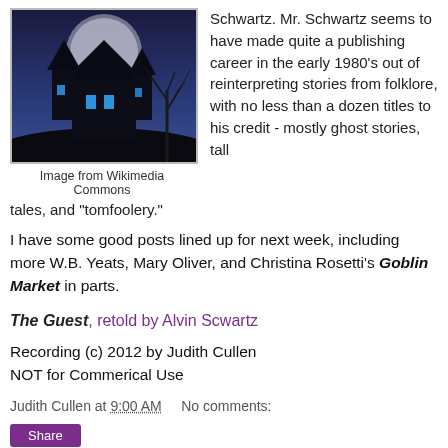[Figure (illustration): A spooky haunted house silhouette against a blue moonlit night sky with bare tree branches]
Image from Wikimedia Commons
Schwartz. Mr. Schwartz seems to have made quite a publishing career in the early 1980's out of reinterpreting stories from folklore, with no less than a dozen titles to his credit - mostly ghost stories, tall tales, and "tomfoolery."
I have some good posts lined up for next week, including more W.B. Yeats, Mary Oliver, and Christina Rosetti's Goblin Market in parts.
The Guest, retold by Alvin Scwartz
Recording (c) 2012 by Judith Cullen
NOT for Commerical Use
Judith Cullen at 9:00 AM   No comments: